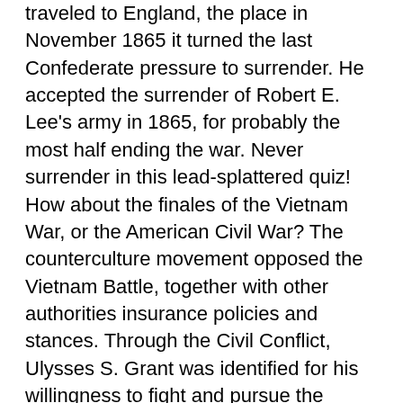traveled to England, the place in November 1865 it turned the last Confederate pressure to surrender. He accepted the surrender of Robert E. Lee's army in 1865, for probably the most half ending the war. Never surrender in this lead-splattered quiz! How about the finales of the Vietnam War, or the American Civil War? The counterculture movement opposed the Vietnam Battle, together with other authorities insurance policies and stances. Through the Civil Conflict, Ulysses S. Grant was identified for his willingness to fight and pursue the enemy. ESPN App on most devices, together with Amazon Hearth, Apple, Android, Chromecast, PlayStation, Roku, Xbox One and extra. Well being coverage in England has been universal because the creation of the Nationwide Health Service (NHS) in 1948. The NHS was arrange below the Nationwide Health Service Act of 1946, based on the suggestions of a report to Parliament by Sir William Beveridge in 1942. The Beveridge Report outlined free well being care as